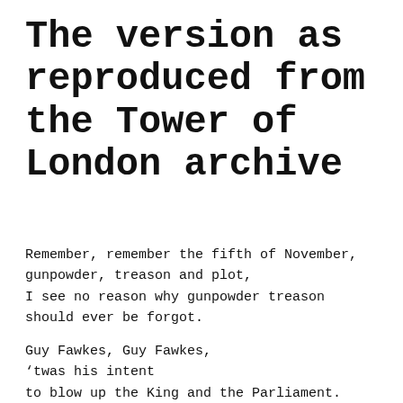The version as reproduced from the Tower of London archive
Remember, remember the fifth of November, gunpowder, treason and plot, I see no reason why gunpowder treason should ever be forgot.

Guy Fawkes, Guy Fawkes, ‘twas his intent to blow up the King and the Parliament. Three score barrels of powder below,